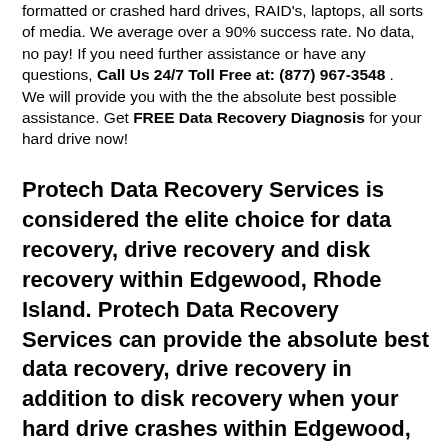formatted or crashed hard drives, RAID's, laptops, all sorts of media. We average over a 90% success rate. No data, no pay! If you need further assistance or have any questions, Call Us 24/7 Toll Free at: (877) 967-3548 . We will provide you with the the absolute best possible assistance. Get FREE Data Recovery Diagnosis for your hard drive now!
Protech Data Recovery Services is considered the elite choice for data recovery, drive recovery and disk recovery within Edgewood, Rhode Island. Protech Data Recovery Services can provide the absolute best data recovery, drive recovery in addition to disk recovery when your hard drive crashes within Edgewood, Rhode Island. Let the data recovery authorities of Edgewood, Rhode Island recover your